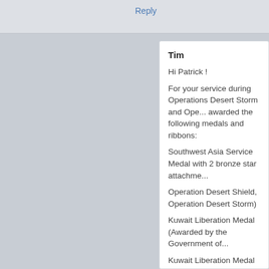Reply
Tim
Hi Patrick !
For your service during Operations Desert Storm and Ope... awarded the following medals and ribbons:
Southwest Asia Service Medal with 2 bronze star attachme...
Operation Desert Shield, Operation Desert Storm)
Kuwait Liberation Medal (Awarded by the Government of...
Kuwait Liberation Medal (Awarded by the Government of... different medals)
Meritorious Unit Commendation (Ribbon)
Sea Service Deployment Ribbon
I think you also had a National Defense Service Medal, pr... mobilization authorizes you to attach the bronze star (seco... device denoting Mobilization.
Take a look here for images and the precedence order for ... your shadow box: